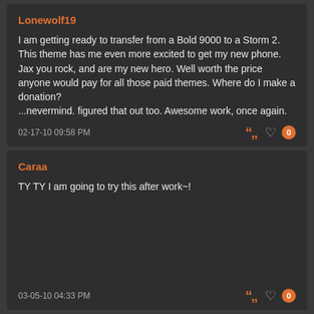Lonewolf19
I am getting ready to transfer from a Bold 9000 to a Storm 2. This theme has me even more excited to get my new phone. Jax you rock, and are my new hero. Well worth the price anyone would pay for all those paid themes. Where do I make a donation?
...nevermind. figured that out too. Awesome work, once again.
02-17-10 09:58 PM
Caraa
TY TY I am going to try this after work~!
03-05-10 04:33 PM